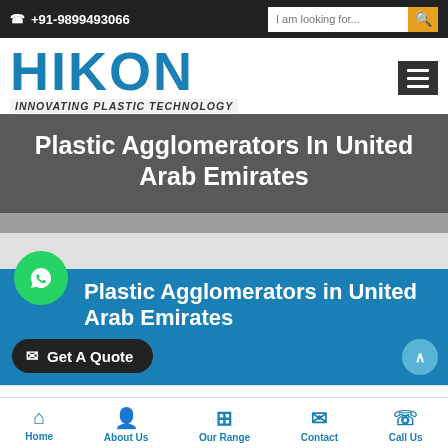+91-9899493066
[Figure (logo): HIKON logo with tagline INNOVATING PLASTIC TECHNOLOGY]
Plastic Agglomerators In United Arab Emirates
Plastic Agglomerators in United Arab Emirates
Get A Quote
Home | About Us | Our Range | Contact | Call Us